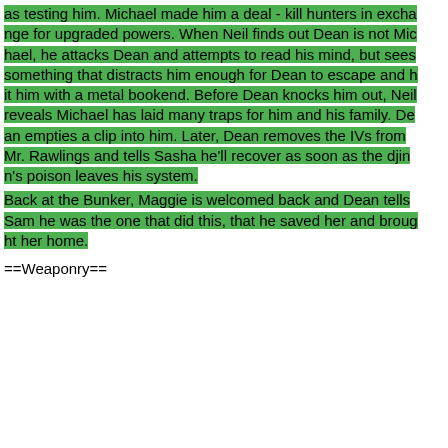as testing him. Michael made him a deal - kill hunters in exchange for upgraded powers. When Neil finds out Dean is not Michael, he attacks Dean and attempts to read his mind, but sees something that distracts him enough for Dean to escape and hit him with a metal bookend. Before Dean knocks him out, Neil reveals Michael has laid many traps for him and his family. Dean empties a clip into him. Later, Dean removes the IVs from Mr. Rawlings and tells Sasha he'll recover as soon as the djinn's poison leaves his system.
Back at the Bunker, Maggie is welcomed back and Dean tells Sam he was the one that did this, that he saved her and brought her home.
==Weaponry==